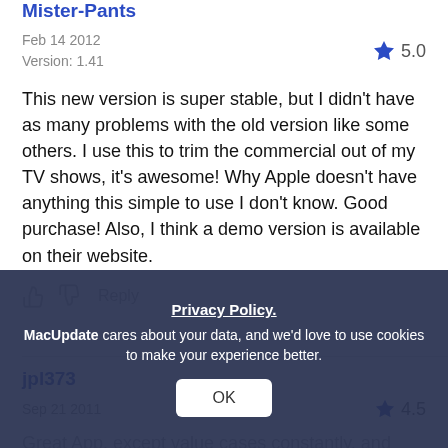Mister-Pants
Feb 14 2012   Version: 1.41   ★ 5.0
This new version is super stable, but I didn't have as many problems with the old version like some others. I use this to trim the commercial out of my TV shows, it's awesome! Why Apple doesn't have anything this simple to use I don't know. Good purchase! Also, I think a demo version is available on their website.
👍 👎 Reply
jpl373
Sep 21 2011   ★ 4.5
Great App, except value cases constantly, and developer has gone in o.
Privacy Policy.
MacUpdate cares about your data, and we'd love to use cookies to make your experience better.
OK